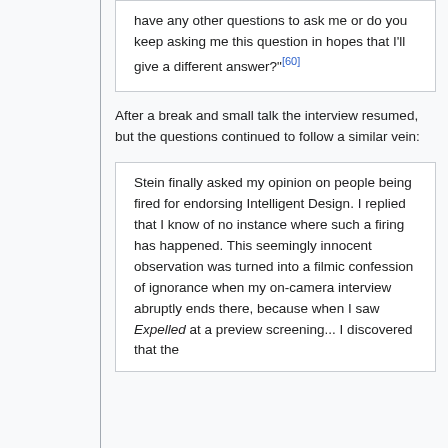have any other questions to ask me or do you keep asking me this question in hopes that I'll give a different answer?"[60]
After a break and small talk the interview resumed, but the questions continued to follow a similar vein:
Stein finally asked my opinion on people being fired for endorsing Intelligent Design. I replied that I know of no instance where such a firing has happened. This seemingly innocent observation was turned into a filmic confession of ignorance when my on-camera interview abruptly ends there, because when I saw Expelled at a preview screening... I discovered that the